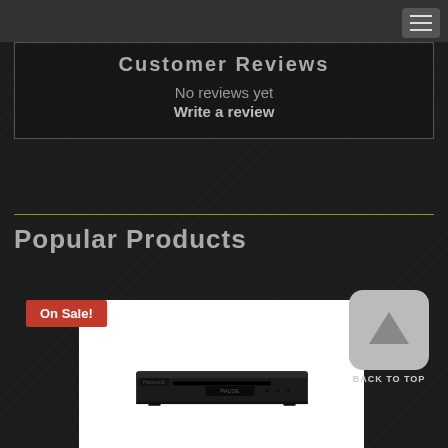Customer Reviews
No reviews yet
Write a review
Popular Products
On Sale!
[Figure (photo): Panasonic Blu-ray player on white background]
[Figure (illustration): Back to Top button with upward arrow icon]